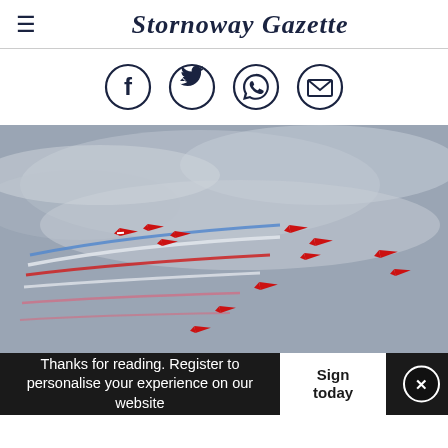Stornoway Gazette
[Figure (illustration): Social media sharing icons: Facebook, Twitter, WhatsApp, Email — each in a dark navy circle outline]
[Figure (photo): Red Arrows RAF aerobatic display team flying in formation against a grey cloudy sky, trailing red, white, and blue smoke trails]
Thanks for reading. Register to personalise your experience on our website
Sign today